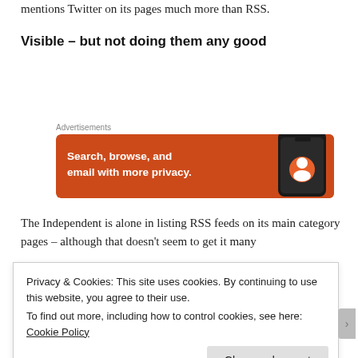mentions Twitter on its pages much more than RSS.
Visible – but not doing them any good
[Figure (photo): DuckDuckGo advertisement banner with orange background showing text 'Search, browse, and email with more privacy.' alongside a smartphone graphic.]
The Independent is alone in listing RSS feeds on its main category pages – although that doesn't seem to get it many
Privacy & Cookies: This site uses cookies. By continuing to use this website, you agree to their use.
To find out more, including how to control cookies, see here: Cookie Policy